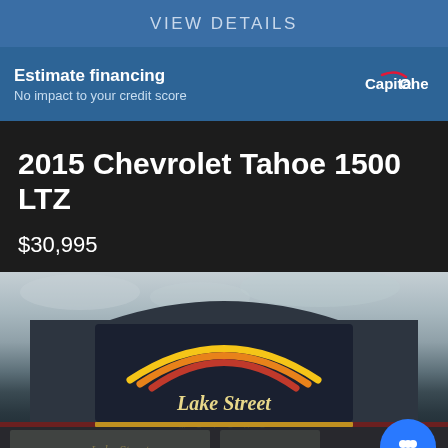VIEW DETAILS
Estimate financing
No impact to your credit score
2015 Chevrolet Tahoe 1500 LTZ
$30,995
[Figure (photo): Lake Street Motors dealership exterior storefront with signage showing Lake Street Motors logo with rainbow arc design]